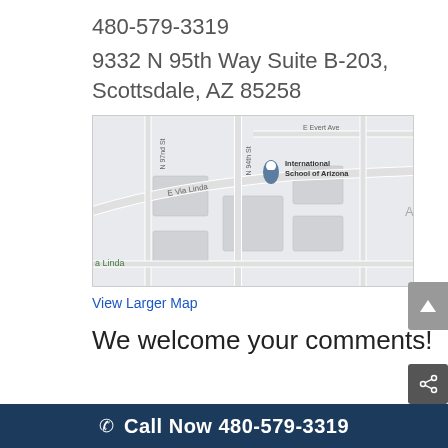480-579-3319
9332 N 95th Way Suite B-203, Scottsdale, AZ 85258
[Figure (map): Google Maps snippet showing the area near International School of Arizona, with streets E Via Linda, N 94th St, N 97nd St, and E Evert Ave visible. A map pin marks the location.]
View Larger Map
We welcome your comments!
© 2022 Purpose Healing Center - Drug and Alcohol Rehab S
Call Now 480-579-3319